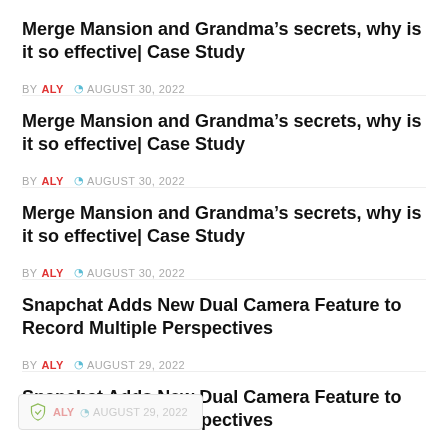Merge Mansion and Grandma’s secrets, why is it so effective│ Case Study
BY ALY ⊙ AUGUST 30, 2022
Merge Mansion and Grandma’s secrets, why is it so effective│ Case Study
BY ALY ⊙ AUGUST 30, 2022
Merge Mansion and Grandma’s secrets, why is it so effective│ Case Study
BY ALY ⊙ AUGUST 30, 2022
Snapchat Adds New Dual Camera Feature to Record Multiple Perspectives
BY ALY ⊙ AUGUST 29, 2022
Snapchat Adds New Dual Camera Feature to Record Multiple Perspectives
BY ALY ⊙ AUGUST 29, 2022